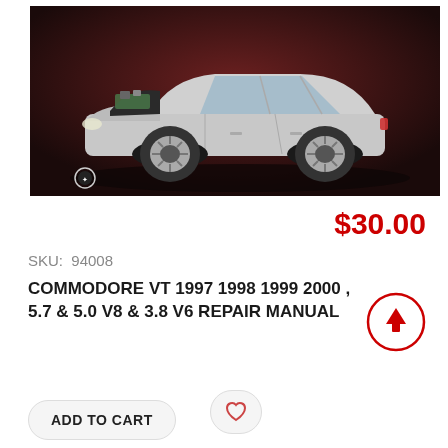[Figure (photo): Silver Holden Commodore VT sedan with hood open showing engine, dark background, cover image of repair manual]
$30.00
SKU: 94008
COMMODORE VT 1997 1998 1999 2000 , 5.7 & 5.0 V8 & 3.8 V6 REPAIR MANUAL